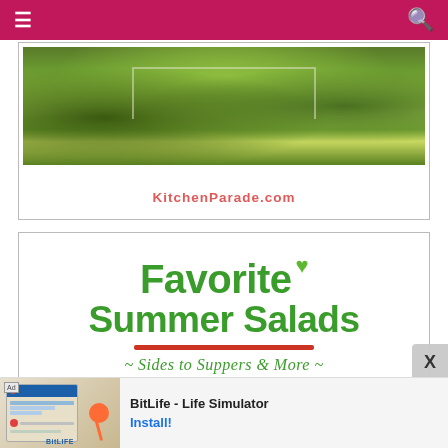≡  [navigation bar]  🔍
[Figure (photo): Garden/hedge photo with house in background, KitchenParade.com website header image]
KitchenParade.com
[Figure (illustration): Favorite Summer Salads graphic with green bold text, heart icon, red underline, and italic subtitle '~ Sides to Suppers & More ~']
Ad  BitLife - Life Simulator  Install!